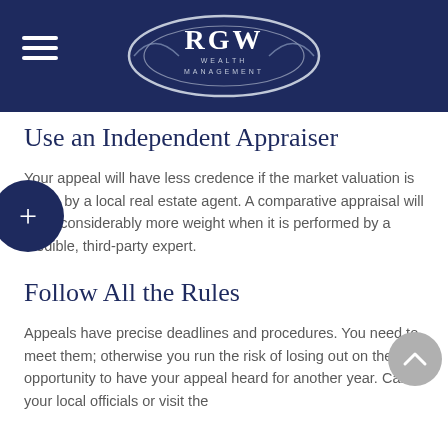RGW WEALTH MANAGEMENT
Use an Independent Appraiser
Your appeal will have less credence if the market valuation is made by a local real estate agent. A comparative appraisal will carry considerably more weight when it is performed by a credible, third-party expert.
Follow All the Rules
Appeals have precise deadlines and procedures. You need to meet them; otherwise you run the risk of losing out on the opportunity to have your appeal heard for another year. Call your local officials or visit the